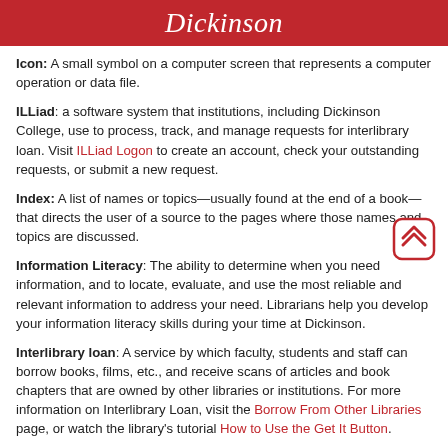Dickinson
Icon:  A small symbol on a computer screen that represents a computer operation or data file.
ILLiad: a software system that institutions, including Dickinson College, use to process, track, and manage requests for interlibrary loan. Visit ILLiad Logon to create an account, check your outstanding requests, or submit a new request.
Index:  A list of names or topics—usually found at the end of a book—that directs the user of a source to the pages where those names and topics are discussed.
[Figure (illustration): A rounded square button with two upward-pointing chevron arrows, outlined in dark red, indicating a scroll-to-top function.]
Information Literacy: The ability to determine when you need information, and to locate, evaluate, and use the most reliable and relevant information to address your need. Librarians help you develop your information literacy skills during your time at Dickinson.
Interlibrary loan:  A service by which faculty, students and staff can borrow books, films, etc., and receive scans of articles and book chapters that are owned by other libraries or institutions. For more information on Interlibrary Loan, visit the Borrow From Other Libraries page, or watch the library's tutorial How to Use the Get It Button.